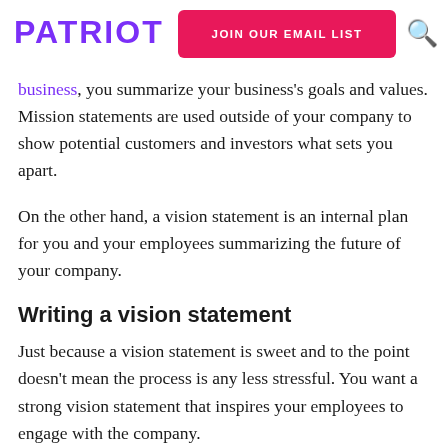PATRIOT | JOIN OUR EMAIL LIST
business, you summarize your business's goals and values. Mission statements are used outside of your company to show potential customers and investors what sets you apart.
On the other hand, a vision statement is an internal plan for you and your employees summarizing the future of your company.
Writing a vision statement
Just because a vision statement is sweet and to the point doesn't mean the process is any less stressful. You want a strong vision statement that inspires your employees to engage with the company.
When creating your vision statement, have fun. Sit down and think about why you started your business